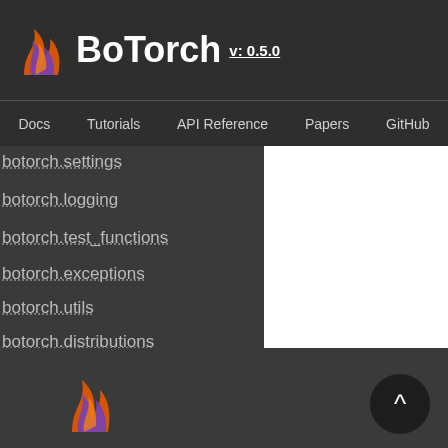BoTorch v: 0.5.0
Docs  Tutorials  API Reference  Papers  GitHub
botorch.settings
botorch.logging
botorch.test_functions
botorch.exceptions
botorch.utils
botorch.distributions
Quick search
[Figure (logo): BoTorch flame logo at bottom left]
[Figure (other): Scroll to top button with upward caret arrow]